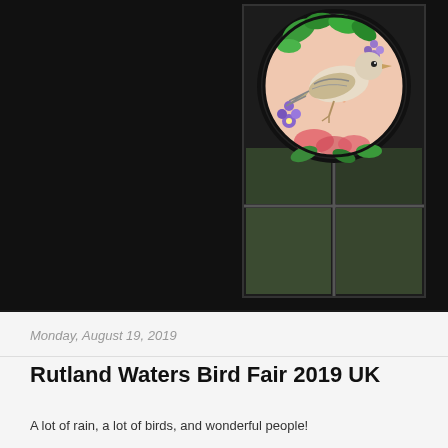[Figure (photo): A circular stained glass or painted artwork depicting a bird (likely a chaffinch or similar bird) surrounded by colorful flowers and leaves in greens, purples, and pinks, hanging in a leaded glass window with garden visible in background]
Monday, August 19, 2019
Rutland Waters Bird Fair 2019 UK
A lot of rain, a lot of birds, and wonderful people!